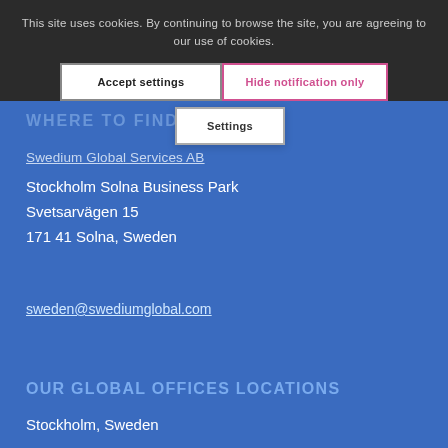This site uses cookies. By continuing to browse the site, you are agreeing to our use of cookies.
Accept settings
Hide notification only
Settings
WHERE TO FIND US
Swedium Global Services AB
Stockholm Solna Business Park
Svetsarvägen 15
171 41 Solna, Sweden
sweden@swediumglobal.com
OUR GLOBAL OFFICES LOCATIONS
Stockholm, Sweden